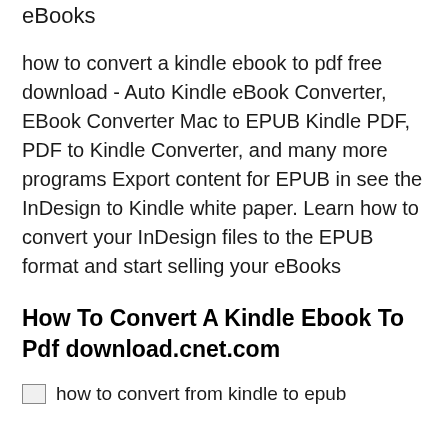eBooks
how to convert a kindle ebook to pdf free download - Auto Kindle eBook Converter, EBook Converter Mac to EPUB Kindle PDF, PDF to Kindle Converter, and many more programs Export content for EPUB in see the InDesign to Kindle white paper. Learn how to convert your InDesign files to the EPUB format and start selling your eBooks
How To Convert A Kindle Ebook To Pdf download.cnet.com
[Figure (other): Image with alt text: how to convert from kindle to epub]